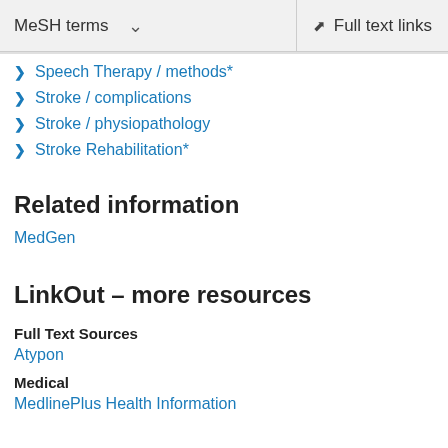MeSH terms   Full text links
Speech Therapy / methods*
Stroke / complications
Stroke / physiopathology
Stroke Rehabilitation*
Related information
MedGen
LinkOut – more resources
Full Text Sources
Atypon
Medical
MedlinePlus Health Information